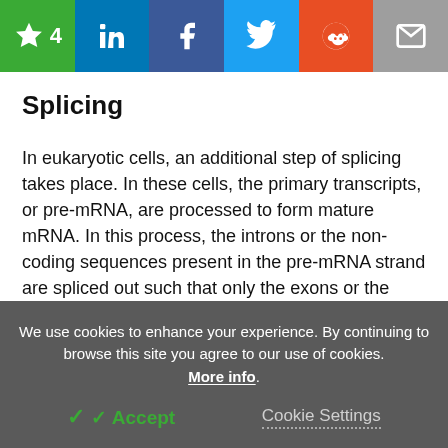Social share bar with star(4), LinkedIn, Facebook, Twitter, Reddit, Email
Splicing
In eukaryotic cells, an additional step of splicing takes place. In these cells, the primary transcripts, or pre-mRNA, are processed to form mature mRNA. In this process, the introns or the non-coding sequences present in the pre-mRNA strand are spliced out such that only the exons or the coding sequence remain.
We use cookies to enhance your experience. By continuing to browse this site you agree to our use of cookies. More info.
Accept   Cookie Settings